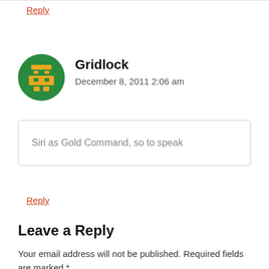Reply
Gridlock
December 8, 2011 2:06 am
Siri as Gold Command, so to speak
Reply
Leave a Reply
Your email address will not be published. Required fields are marked *
Comment *